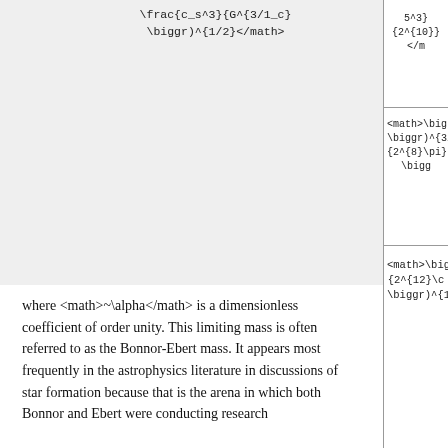| \frac{c_s^3}{G^{3/1_c}} \biggr)^{1/2} |
| <math>\bigg... \biggr)^{3/10}\... {2^{8}\pi} \bigg... |
| <math>\bigg... {2^{12}\c... \biggr)^{1... |
where <math>~\alpha</math> is a dimensionless coefficient of order unity. This limiting mass is often referred to as the Bonnor-Ebert mass. It appears most frequently in the astrophysics literature in discussions of star formation because that is the arena in which both Bonnor and Ebert were conducting research